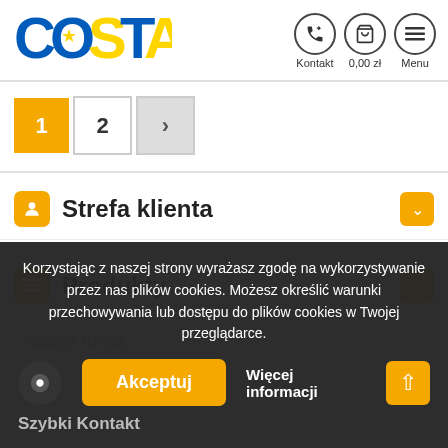[Figure (logo): COSTA logo with Ukrainian flag colors (blue and yellow)]
Kontakt  0,00 zł  Menu
1
2
>
Strefa klienta
Produkty
Korzystając z naszej strony wyrażasz zgodę na wykorzystywanie przez nas plików cookies. Możesz określić warunki przechowywania lub dostępu do plików cookies w Twojej przeglądarce.
Akceptuj
Więcej informacji
Szybki Kontakt